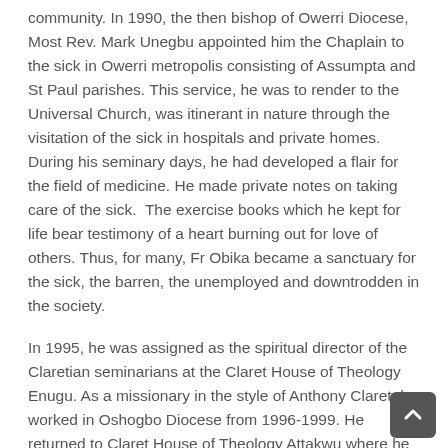community. In 1990, the then bishop of Owerri Diocese, Most Rev. Mark Unegbu appointed him the Chaplain to the sick in Owerri metropolis consisting of Assumpta and St Paul parishes. This service, he was to render to the Universal Church, was itinerant in nature through the visitation of the sick in hospitals and private homes. During his seminary days, he had developed a flair for the field of medicine. He made private notes on taking care of the sick.  The exercise books which he kept for life bear testimony of a heart burning out for love of others. Thus, for many, Fr Obika became a sanctuary for the sick, the barren, the unemployed and downtrodden in the society.
In 1995, he was assigned as the spiritual director of the Claretian seminarians at the Claret House of Theology Enugu. As a missionary in the style of Anthony Claret, he worked in Oshogbo Diocese from 1996-1999. He returned to Claret House of Theology Attakwu where he served as the bursar of the community. (2000-2002). He became the director of the Claretian Renewal Centre, Maryland Nekede in 2003. He served in this capacity till 2004 when he was appointed as the assistant Cathedral Administrator of the Our Lady of the Waters Cathedral Bomadi Vicariate. He was later assigned the parish priest of St. Patrick Catholic Church Yenegoa, Bayelsa State (2006-2007). Fr JMJ as fondly